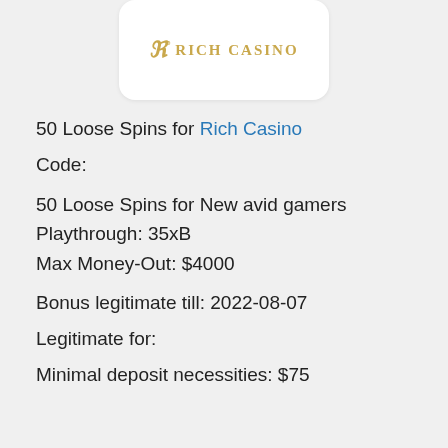[Figure (logo): Rich Casino logo — stylized R emblem and 'RICH CASINO' text in gold on white rounded rectangle]
50 Loose Spins for Rich Casino
Code:
50 Loose Spins for New avid gamers
Playthrough: 35xB
Max Money-Out: $4000
Bonus legitimate till: 2022-08-07
Legitimate for:
Minimal deposit necessities: $75